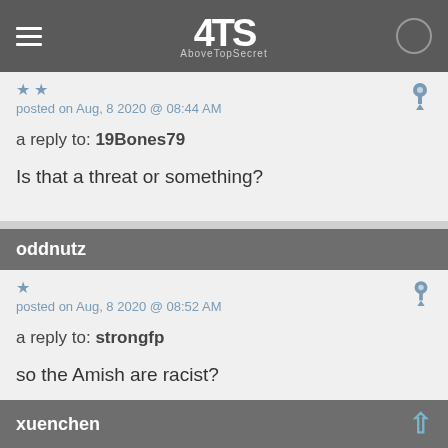ATS AboveTopSecret
posted on Aug, 8 2020 @ 08:44 AM
a reply to: 19Bones79
Is that a threat or something?
oddnutz
posted on Aug, 8 2020 @ 08:52 AM
a reply to: strongfp
so the Amish are racist?
xuenchen